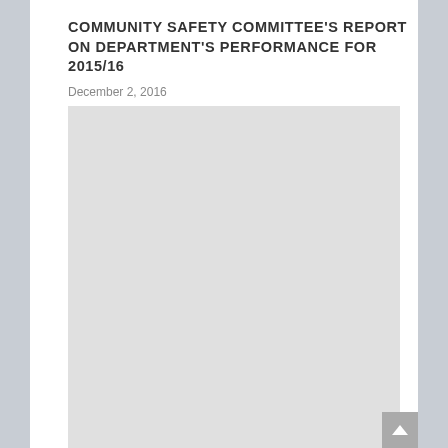COMMUNITY SAFETY COMMITTEE'S REPORT ON DEPARTMENT'S PERFORMANCE FOR 2015/16
December 2, 2016
[Figure (other): Large light grey placeholder image area below the title and date]